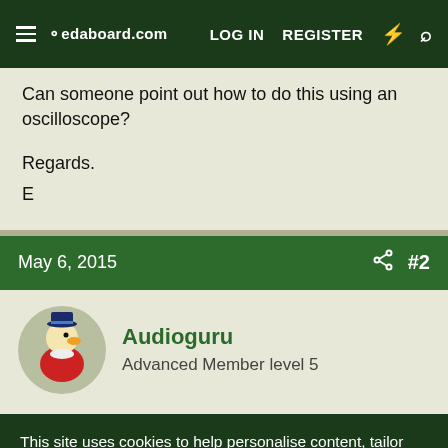edaboard.com  LOG IN  REGISTER
Can someone point out how to do this using an oscilloscope?
Regards.
E
May 6, 2015  #2
Audioguru
Advanced Member level 5
This site uses cookies to help personalise content, tailor your experience and to keep you logged in if you register.
By continuing to use this site, you are consenting to our use of cookies.